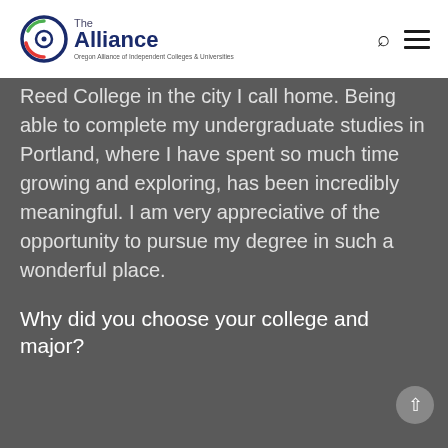The Alliance – Oregon Alliance of Independent Colleges & Universities
Reed College in the city I call home. Being able to complete my undergraduate studies in Portland, where I have spent so much time growing and exploring, has been incredibly meaningful. I am very appreciative of the opportunity to pursue my degree in such a wonderful place.
Why did you choose your college and major?